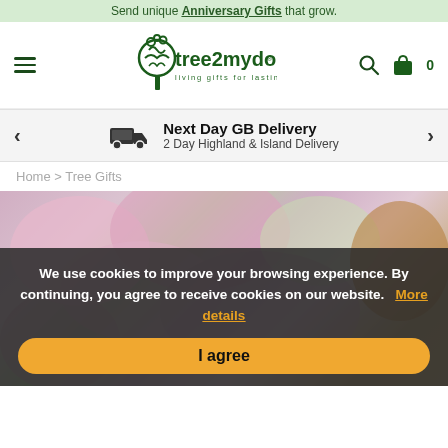Send unique Anniversary Gifts that grow.
[Figure (logo): tree2mydoor.com logo with tree illustration and tagline 'living gifts for lasting memories']
Next Day GB Delivery
2 Day Highland & Island Delivery
Home > Tree Gifts
[Figure (photo): Close-up photo of pink cherry blossom flowers with green leaves and a wooden surface on the right side.]
We use cookies to improve your browsing experience. By continuing, you agree to receive cookies on our website. More details
I agree